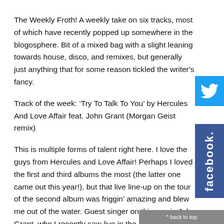The Weekly Froth! A weekly take on six tracks, most of which have recently popped up somewhere in the blogosphere. Bit of a mixed bag with a slight leaning towards house, disco, and remixes, but generally just anything that for some reason tickled the writer's fancy.
Track of the week: ‘Try To Talk To You’ by Hercules And Love Affair feat. John Grant (Morgan Geist remix)
This is multiple forms of talent right here. I love the guys from Hercules and Love Affair! Perhaps I loved the first and third albums the most (the latter one came out this year!), but that live line-up on the tour of the second album was friggin’ amazing and blew me out of the water. Guest singer on this one is John Grant, who I recently saw live in the pouring rain (see my Primavera Sound report for that), and the guy on remix duties is Morgan Geist. There are numerous things here that anchor this one in gay culture, both in terms of the content (the song is about the moment someone realizes he has AIDS) to the form, as it is house music in all its glory. So you’ve got the beat to jack to, the synths to get working on, and the emotional punch of the vocals and